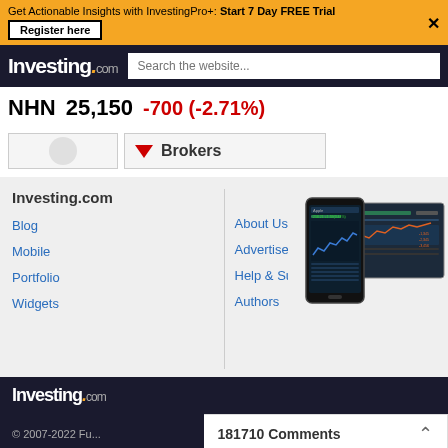Get Actionable Insights with InvestingPro+: Start 7 Day FREE Trial
Register here
Investing.com | Search the website...
NHN  25,150  -700 (-2.71%)
[Figure (screenshot): Navigation tab area with arrow icon and Brokers label]
Investing.com
Blog
Mobile
Portfolio
Widgets
About Us
Advertise
Help & Support
Authors
[Figure (screenshot): Investing.com mobile app screenshot showing Apple stock chart on smartphone and desktop]
Investing.com
© 2007-2022 Fu...
181710 Comments